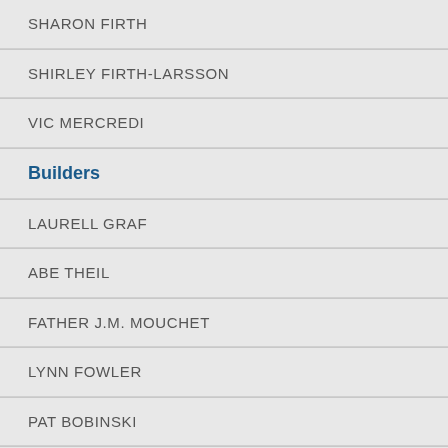SHARON FIRTH
SHIRLEY FIRTH-LARSSON
VIC MERCREDI
Builders
LAURELL GRAF
ABE THEIL
FATHER J.M. MOUCHET
LYNN FOWLER
PAT BOBINSKI
SPORT NORTH FOUNDERS